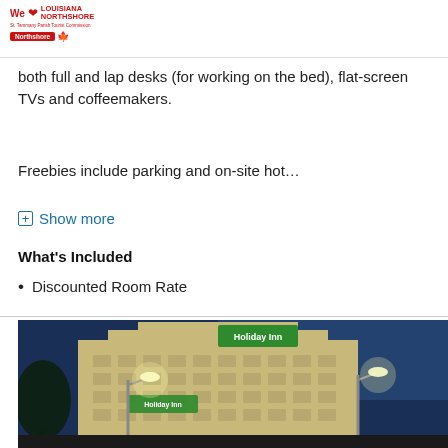We ❤ Louisiana Northshore – St. Tammany Parish Tourist Commission
both full and lap desks (for working on the bed), flat-screen TVs and coffeemakers.
Freebies include parking and on-site hot…
Show more
What's Included
Discounted Room Rate
[Figure (photo): Nighttime exterior photo of a Holiday Inn hotel building, illuminated with green signage and parking lot lights against a dark blue sky]